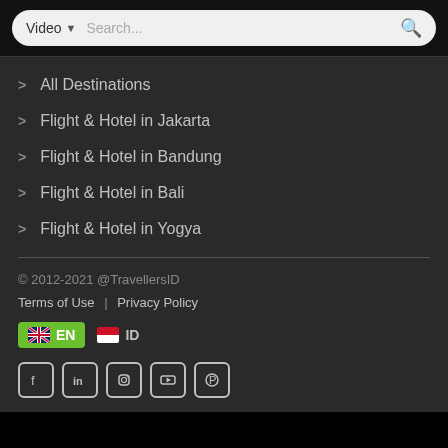[Figure (screenshot): Search bar with Video dropdown selector and Search... placeholder text with green magnifying glass icon]
> All Destinations
> Flight & Hotel in Jakarta
> Flight & Hotel in Bandung
> Flight & Hotel in Bali
> Flight & Hotel in Yogya
© 2012-2021 @TravellersID
Terms of Use | Privacy Policy
EN  ID
Social media icons: Facebook, LinkedIn, Instagram, YouTube, Pinterest